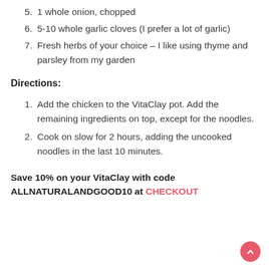5. 1 whole onion, chopped
6. 5-10 whole garlic cloves (I prefer a lot of garlic)
7. Fresh herbs of your choice – I like using thyme and parsley from my garden
Directions:
1. Add the chicken to the VitaClay pot. Add the remaining ingredients on top, except for the noodles.
2. Cook on slow for 2 hours, adding the uncooked noodles in the last 10 minutes.
Save 10% on your VitaClay with code ALLNATURALANDGOOD10 at CHECKOUT